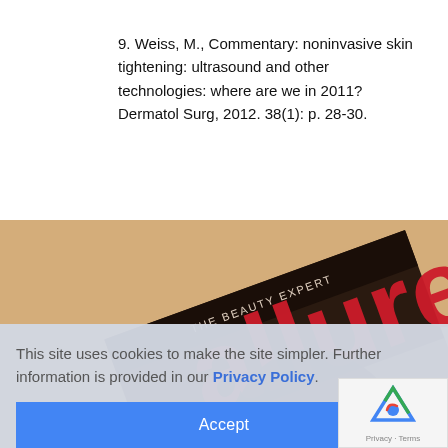9. Weiss, M., Commentary: noninvasive skin tightening: ultrasound and other technologies: where are we in 2011? Dermatol Surg, 2012. 38(1): p. 28-30.
[Figure (photo): Allure magazine cover (The Beauty Expert) shown at an angle against a tan/beige background. The magazine cover shows a close-up of a woman's face with large red Allure lettering.]
This site uses cookies to make the site simpler. Further information is provided in our Privacy Policy.